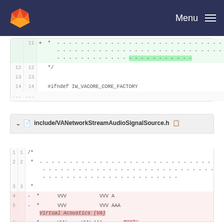Menu
[Figure (screenshot): GitLab diff view showing code lines 11-14 with line 11 added (green highlight), showing a comment block with dashes. Line 14 shows #ifndef IW_VACORE_CORE_FACTORY]
include/VANetworkStreamAudioSignalSource.h
[Figure (screenshot): GitLab diff view for include/VANetworkStreamAudioSignalSource.h showing lines 1-6. Lines 1-3 are unchanged showing comment block start. Lines 4-6 are removed (red highlight) showing * VVV VVV A, * VVV VVV AAA, Virtual Acoustics (VA), * VVV VVV AAA Real-]